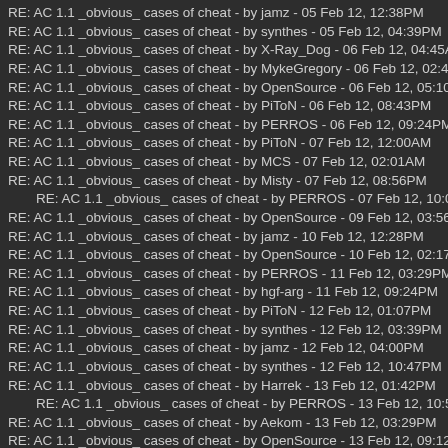RE: AC 1.1 _obvious_ cases of cheat - by jamz - 05 Feb 12, 12:38PM
RE: AC 1.1 _obvious_ cases of cheat - by synthes - 05 Feb 12, 04:39PM
RE: AC 1.1 _obvious_ cases of cheat - by X-Ray_Dog - 06 Feb 12, 04:45AM
RE: AC 1.1 _obvious_ cases of cheat - by MykeGregory - 06 Feb 12, 02:48PM
RE: AC 1.1 _obvious_ cases of cheat - by OpenSource - 06 Feb 12, 05:10PM
RE: AC 1.1 _obvious_ cases of cheat - by PiToN - 06 Feb 12, 08:43PM
RE: AC 1.1 _obvious_ cases of cheat - by PERROS - 06 Feb 12, 09:24PM
RE: AC 1.1 _obvious_ cases of cheat - by PiToN - 07 Feb 12, 12:00AM
RE: AC 1.1 _obvious_ cases of cheat - by MCS - 07 Feb 12, 02:01AM
RE: AC 1.1 _obvious_ cases of cheat - by Misty - 07 Feb 12, 08:56PM
RE: AC 1.1 _obvious_ cases of cheat - by PERROS - 07 Feb 12, 10:09PM
RE: AC 1.1 _obvious_ cases of cheat - by OpenSource - 09 Feb 12, 03:56PM
RE: AC 1.1 _obvious_ cases of cheat - by jamz - 10 Feb 12, 12:28PM
RE: AC 1.1 _obvious_ cases of cheat - by OpenSource - 10 Feb 12, 02:17PM
RE: AC 1.1 _obvious_ cases of cheat - by PERROS - 11 Feb 12, 03:29PM
RE: AC 1.1 _obvious_ cases of cheat - by hgf-arg - 11 Feb 12, 09:24PM
RE: AC 1.1 _obvious_ cases of cheat - by PiToN - 12 Feb 12, 01:07PM
RE: AC 1.1 _obvious_ cases of cheat - by synthes - 12 Feb 12, 03:39PM
RE: AC 1.1 _obvious_ cases of cheat - by jamz - 12 Feb 12, 04:00PM
RE: AC 1.1 _obvious_ cases of cheat - by synthes - 12 Feb 12, 10:47PM
RE: AC 1.1 _obvious_ cases of cheat - by Harrek - 13 Feb 12, 01:42PM
RE: AC 1.1 _obvious_ cases of cheat - by PERROS - 13 Feb 12, 10:50PM
RE: AC 1.1 _obvious_ cases of cheat - by Aekom - 13 Feb 12, 03:29PM
RE: AC 1.1 _obvious_ cases of cheat - by OpenSource - 13 Feb 12, 09:12PM
RE: AC 1.1 _obvious_ cases of cheat - by GDM - 14 Feb 12, 12:39AM